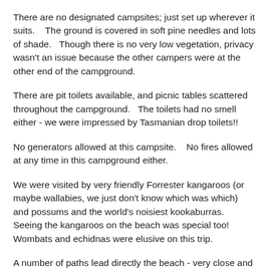There are no designated campsites; just set up wherever it suits.    The ground is covered in soft pine needles and lots of shade.   Though there is no very low vegetation, privacy wasn't an issue because the other campers were at the other end of the campground.
There are pit toilets available, and picnic tables scattered throughout the campground.   The toilets had no smell either - we were impressed by Tasmanian drop toilets!!
No generators allowed at this campsite.    No fires allowed at any time in this campground either.
We were visited by very friendly Forrester kangaroos (or maybe wallabies, we just don't know which was which) and possums and the world's noisiest kookaburras.      Seeing the kangaroos on the beach was special too!   Wombats and echidnas were elusive on this trip.
A number of paths lead directly the beach - very close and easy to wander down with a drink in your hand!  As for swimming, there was a